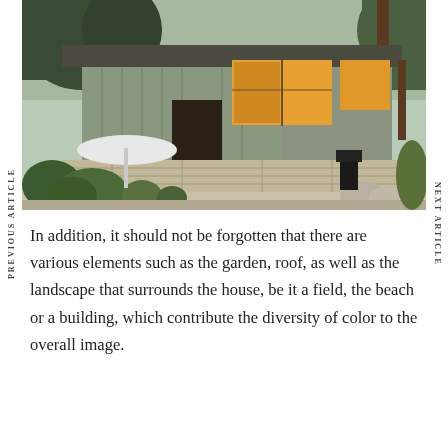PREVIOUS ARTICLE
NEXT ARTICLE
[Figure (photo): A mid-century modern house exterior with horizontal board-and-batten siding, large windows with warm interior lighting, a stone retaining wall, ornamental grasses, and tropical plants. The driveway leads to the entrance. Trees are visible in the background.]
In addition, it should not be forgotten that there are various elements such as the garden, roof, as well as the landscape that surrounds the house, be it a field, the beach or a building, which contribute the diversity of color to the overall image.